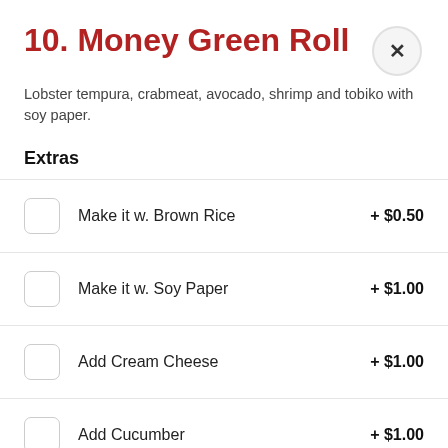10. Money Green Roll
Lobster tempura, crabmeat, avocado, shrimp and tobiko with soy paper.
Extras
Make it w. Brown Rice  + $0.50
Make it w. Soy Paper  + $1.00
Add Cream Cheese  + $1.00
Add Cucumber  + $1.00
Add Avocado  + $1.00